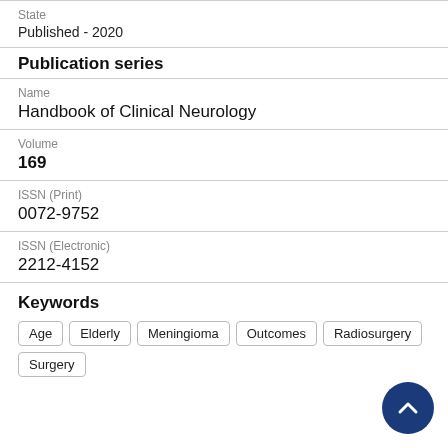State
Published - 2020
Publication series
Name
Handbook of Clinical Neurology
Volume
169
ISSN (Print)
0072-9752
ISSN (Electronic)
2212-4152
Keywords
Age
Elderly
Meningioma
Outcomes
Radiosurgery
Surgery